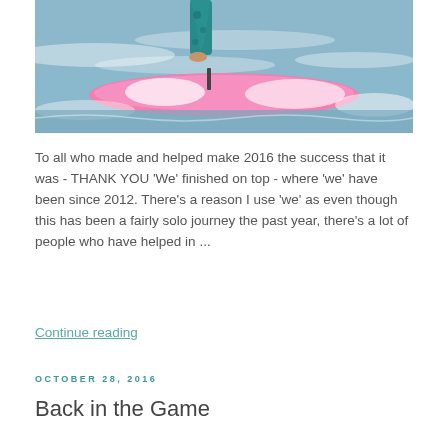[Figure (photo): Person standing on a pink and white paddleboard on the ocean, wearing teal patterned leggings, with waves in the background]
To all who made and helped make 2016 the success that it was - THANK YOU 'We' finished on top - where 'we' have been since 2012. There's a reason I use 'we' as even though this has been a fairly solo journey the past year, there's a lot of people who have helped in ...
Continue reading
OCTOBER 28, 2016
Back in the Game